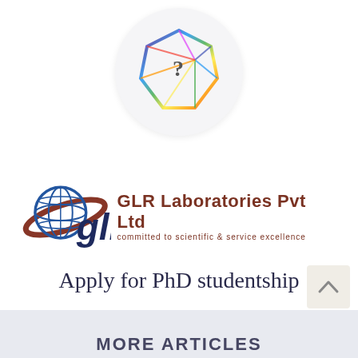[Figure (logo): Colorful geometric crystal/diamond shape with a question mark inside, displayed in a white circular background. Multi-colored outline (rainbow gradient) forming a polygonal gem shape.]
[Figure (logo): GLR Laboratories Pvt Ltd logo. Features a blue globe with a dark red orbital arc and stylized 'glr' letters in dark blue, alongside the text 'GLR Laboratories Pvt Ltd' in dark red/brown and tagline 'committed to scientific & service excellence'.]
Apply for PhD studentship
Post Graduate Fellowship in Research Communication
MORE ARTICLES